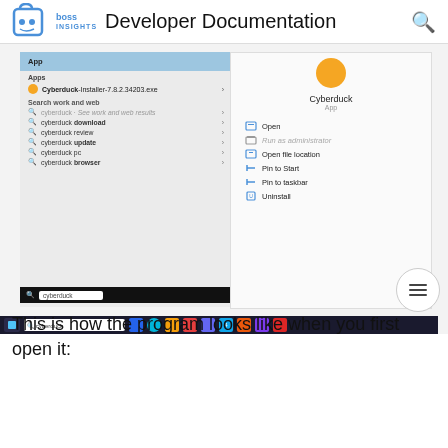Developer Documentation
[Figure (screenshot): Windows 10 Start menu showing Cyberduck app search results with context menu options: Open, Run as administrator, Open file location, Pin to Start, Pin to taskbar, Uninstall. Taskbar visible at bottom with 'cyberduck' typed in search.]
This is how the program looks like when you first open it: